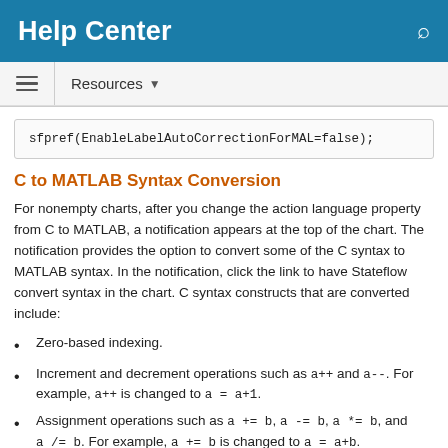Help Center
Resources
C to MATLAB Syntax Conversion
For nonempty charts, after you change the action language property from C to MATLAB, a notification appears at the top of the chart. The notification provides the option to convert some of the C syntax to MATLAB syntax. In the notification, click the link to have Stateflow convert syntax in the chart. C syntax constructs that are converted include:
Zero-based indexing.
Increment and decrement operations such as a++ and a--. For example, a++ is changed to a = a+1.
Assignment operations such as a += b, a -= b, a *= b, and a /= b. For example, a += b is changed to a = a+b.
Binary operations such as a %% b, a >> b, and a << b. For example, a %% b is changed to rem(a, b).